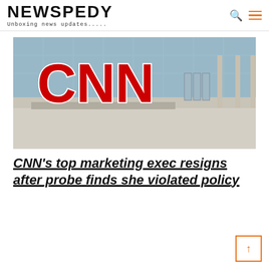NEWSPEDY — Unboxing news updates.....
[Figure (photo): CNN logo sign in red outside CNN headquarters building with glass facade]
CNN's top marketing exec resigns after probe finds she violated policy